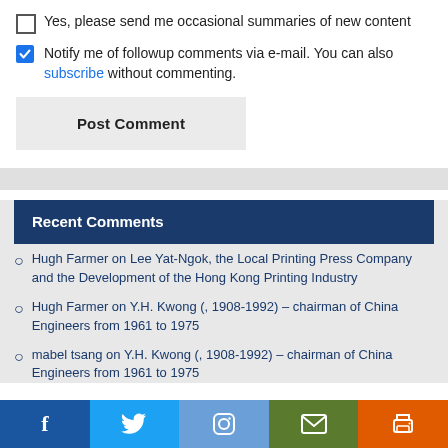Yes, please send me occasional summaries of new content
Notify me of followup comments via e-mail. You can also subscribe without commenting.
Post Comment
Recent Comments
Hugh Farmer on Lee Yat-Ngok, the Local Printing Press Company and the Development of the Hong Kong Printing Industry
Hugh Farmer on Y.H. Kwong (, 1908-1992) – chairman of China Engineers from 1961 to 1975
mabel tsang on Y.H. Kwong (, 1908-1992) – chairman of China Engineers from 1961 to 1975